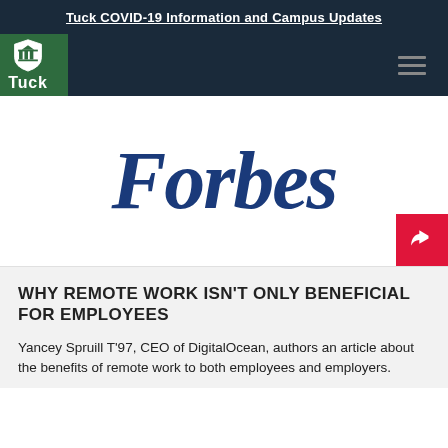Tuck COVID-19 Information and Campus Updates
[Figure (logo): Tuck School of Business logo — green square with shield icon and 'Tuck' text below in white]
[Figure (logo): Forbes magazine logo in large dark blue italic serif text on white background]
WHY REMOTE WORK ISN'T ONLY BENEFICIAL FOR EMPLOYEES
Yancey Spruill T'97, CEO of DigitalOcean, authors an article about the benefits of remote work to both employees and employers.